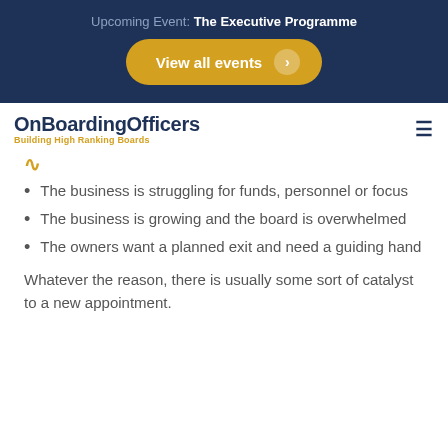Upcoming Event: The Executive Programme
View all events
[Figure (logo): OnBoardingOfficers logo with tagline 'Building High Ranking Boards']
The business is struggling for funds, personnel or focus
The business is growing and the board is overwhelmed
The owners want a planned exit and need a guiding hand
Whatever the reason, there is usually some sort of catalyst to a new appointment.